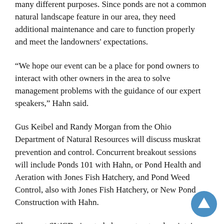many different purposes. Since ponds are not a common natural landscape feature in our area, they need additional maintenance and care to function properly and meet the landowners' expectations.
“We hope our event can be a place for pond owners to interact with other owners in the area to solve management problems with the guidance of our expert speakers,” Hahn said.
Gus Keibel and Randy Morgan from the Ohio Department of Natural Resources will discuss muskrat prevention and control. Concurrent breakout sessions will include Ponds 101 with Hahn, or Pond Health and Aeration with Jones Fish Hatchery, and Pond Weed Control, also with Jones Fish Hatchery, or New Pond Construction with Hahn.
Clermont SWCD aims to help construct and maintain a safe, functional and attractive pond. Clermont County Farm Bureau is sponsoring the event.
There is no cost, but registration is required to gain free